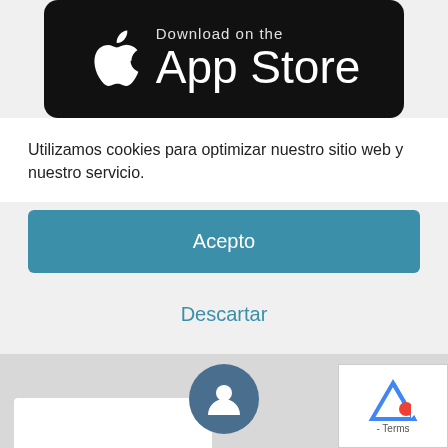[Figure (logo): App Store download badge — black rounded rectangle with Apple logo and 'Download on the App Store' text]
Utilizamos cookies para optimizar nuestro sitio web y nuestro servicio.
Acepto
Descartar
Preferencias
Legal warning
[Figure (screenshot): Bottom strip with user profile icon circle (dark blue/grey) and partial white box, plus reCAPTCHA widget in lower right corner]